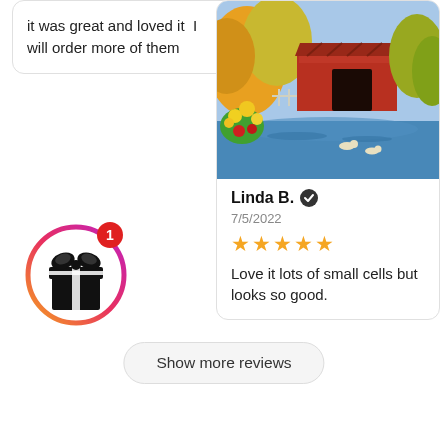it was great and loved it I will order more of them
[Figure (photo): Colorful painting of a red covered bridge surrounded by flowers and water]
Linda B. ✔ 7/5/2022 ★★★★★ Love it lots of small cells but looks so good.
[Figure (illustration): Gift box icon inside a gradient circle with badge showing number 1]
Show more reviews